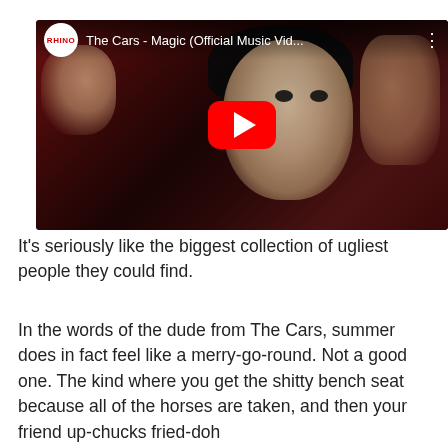[Figure (screenshot): YouTube video embed thumbnail showing The Cars - Magic (Official Music Vid...) with the Rhino Records logo, a play button overlay, and a dark stylized music video still featuring a pale-faced performer.]
It's seriously like the biggest collection of ugliest people they could find.
In the words of the dude from The Cars, summer does in fact feel like a merry-go-round.  Not a good one.  The kind where you get the shitty bench seat because all of the horses are taken, and then your friend up-chucks fried-doh